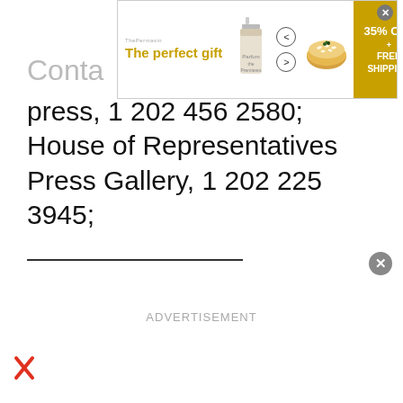[Figure (screenshot): Advertisement banner showing 'The perfect gift' with perfume bottle, navigation arrows, food bowl image, and '35% OFF + FREE SHIPPING' promotional badge]
Conta
press, 1 202 456 2580; House of Representatives Press Gallery, 1 202 225 3945;
ADVERTISEMENT